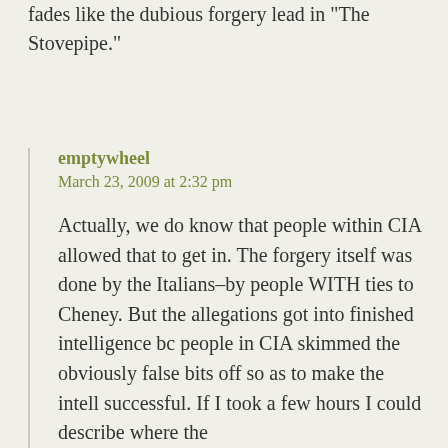fades like the dubious forgery lead in “The Stovepipe.”
emptywheel
March 23, 2009 at 2:32 pm

Actually, we do know that people within CIA allowed that to get in. The forgery itself was done by the Italians–by people WITH ties to Cheney. But the allegations got into finished intelligence bc people in CIA skimmed the obviously false bits off so as to make the intell successful. If I took a few hours I could describe where the